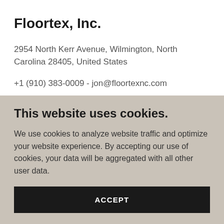Floortex, Inc.
2954 North Kerr Avenue, Wilmington, North Carolina 28405, United States
+1 (910) 383-0009 - jon@floortexnc.com
This website uses cookies.
We use cookies to analyze website traffic and optimize your website experience. By accepting our use of cookies, your data will be aggregated with all other user data.
ACCEPT